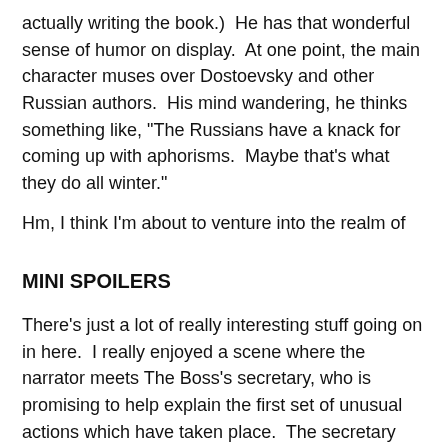actually writing the book.)  He has that wonderful sense of humor on display.  At one point, the main character muses over Dostoevsky and other Russian authors.  His mind wandering, he thinks something like, "The Russians have a knack for coming up with aphorisms.  Maybe that's what they do all winter."
Hm, I think I'm about to venture into the realm of
MINI SPOILERS
There's just a lot of really interesting stuff going on in here.  I really enjoyed a scene where the narrator meets The Boss's secretary, who is promising to help explain the first set of unusual actions which have taken place.  The secretary makes a metaphor: their exchange will be like a ship.  Honesty is at the front, and truth is in the back.  He will lead forward with honesty.  Truth will inevitably follow, and even though it depends on honesty, it is not the same thing.  I think I grasped this image, and like it a lot.  It says that words are not the same as comprehension.  You can listen